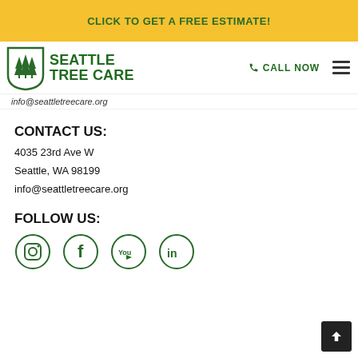CLICK TO GET A FREE ESTIMATE!
[Figure (logo): Seattle Tree Care logo with shield and pine trees]
CALL NOW
info@seattletreecare.org
CONTACT US:
4035 23rd Ave W
Seattle, WA 98199
info@seattletreecare.org
FOLLOW US:
[Figure (infographic): Social media icons: Instagram, Facebook, YouTube, LinkedIn]